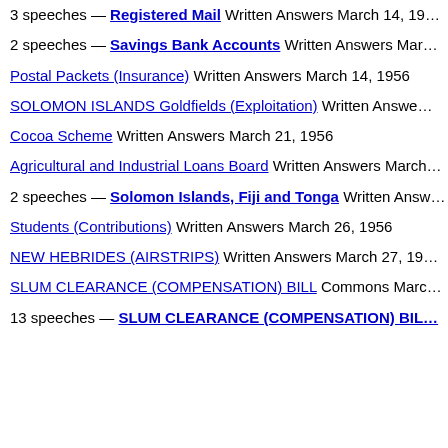3 speeches — Registered Mail Written Answers March 14, 19…
2 speeches — Savings Bank Accounts Written Answers Mar…
Postal Packets (Insurance) Written Answers March 14, 1956
SOLOMON ISLANDS Goldfields (Exploitation) Written Answe…
Cocoa Scheme Written Answers March 21, 1956
Agricultural and Industrial Loans Board Written Answers March…
2 speeches — Solomon Islands, Fiji and Tonga Written Answ…
Students (Contributions) Written Answers March 26, 1956
NEW HEBRIDES (AIRSTRIPS) Written Answers March 27, 19…
SLUM CLEARANCE (COMPENSATION) BILL Commons Marc…
13 speeches — SLUM CLEARANCE (COMPENSATION) BIL…